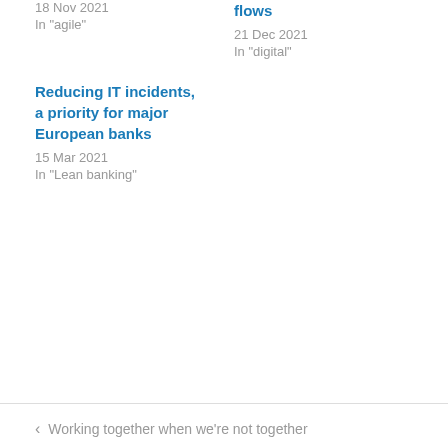18 Nov 2021
In "agile"
flows
21 Dec 2021
In "digital"
Reducing IT incidents, a priority for major European banks
15 Mar 2021
In "Lean banking"
< Working together when we're not together